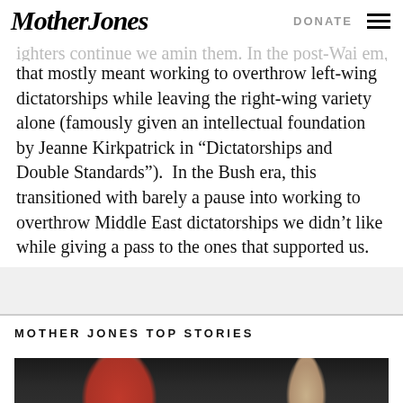Mother Jones | DONATE
ighters continue we amin them. In the post-Wai em, that mostly meant working to overthrow left-wing dictatorships while leaving the right-wing variety alone (famously given an intellectual foundation by Jeanne Kirkpatrick in “Dictatorships and Double Standards”). In the Bush era, this transitioned with barely a pause into working to overthrow Middle East dictatorships we didn’t like while giving a pass to the ones that supported us.
MOTHER JONES TOP STORIES
[Figure (photo): A person wearing a red cap, gesturing with their hand raised]